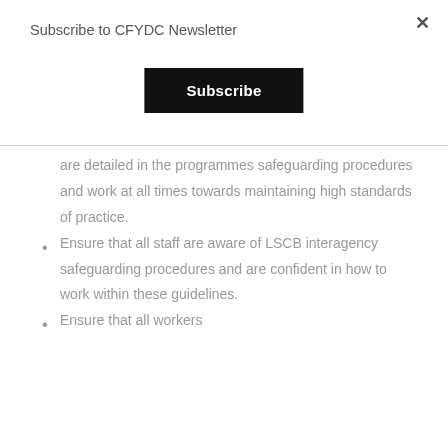Subscribe to CFYDC Newsletter
Subscribe
are detailed in the programmes safeguarding procedures and work at all times towards maintaining high standards of practice.
Ensure that all staff are aware of LSCB interagency safeguarding procedures and are confident in how to work within these guidelines.
Ensure that all workers